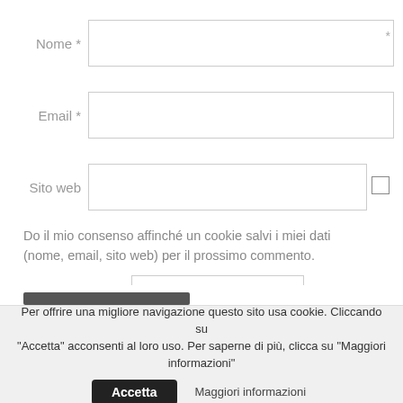Nome *
Email *
Sito web
Do il mio consenso affinché un cookie salvi i miei dati (nome, email, sito web) per il prossimo commento.
[Figure (other): CAPTCHA image showing text '5767B' in bold italic serif font]
Anti-Spam
Per offrire una migliore navigazione questo sito usa cookie. Cliccando su "Accetta" acconsenti al loro uso. Per saperne di più, clicca su "Maggiori informazioni"
Accetta
Maggiori informazioni